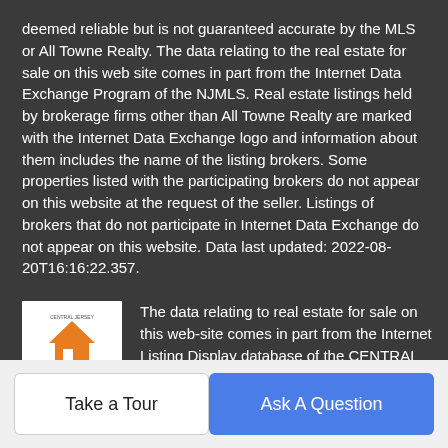deemed reliable but is not guaranteed accurate by the MLS or All Towne Realty. The data relating to the real estate for sale on this web site comes in part from the Internet Data Exchange Program of the NJMLS. Real estate listings held by brokerage firms other than All Towne Realty are marked with the Internet Data Exchange logo and information about them includes the name of the listing brokers. Some properties listed with the participating brokers do not appear on this website at the request of the seller. Listings of brokers that do not participate in Internet Data Exchange do not appear on this website. Data last updated: 2022-08-20T16:16:22.357.
[Figure (logo): CJMLS logo - Central Jersey Multiple Listing System logo with house icon in orange and text CJMLS]
The data relating to real estate for sale on this web-site comes in part from the Internet Listing Display database of the CENTRAL JERSEY MULTIPLE LISTING SYSTEM, INC. Real estate listings held by brokerage firms other than this site-owner are marked with the ILD logo. The CENTRAL JERSEY MULTIPLE
Take a Tour | Ask A Question